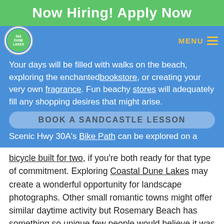Now Hiring! Apply Now
Your days will be filled with walks on the beach, exploring the enchanted bookstore, or creating your very own fragrance. Fun beachy stores will adequately fill any shopping desires that might arise.
BOOK A SANDCASTLE LESSON
Scenic Hwy 30A's Bike Path can be explored on a bicycle built for two, if you're both ready for that type of commitment. Exploring Coastal Dune Lakes may create a wonderful opportunity for landscape photographs. Other small romantic towns might offer similar daytime activity but Rosemary Beach has something so unique few people would believe it was actually available; SandCastle Lessons.
Yes, that's right! SandCastle Lessons with Beach Sand Sculptures offers a truly one of a kind experience topping the romantic activities list. Not only will you learn tips and techniques for creating the tallest SandCastle of your life! You will work